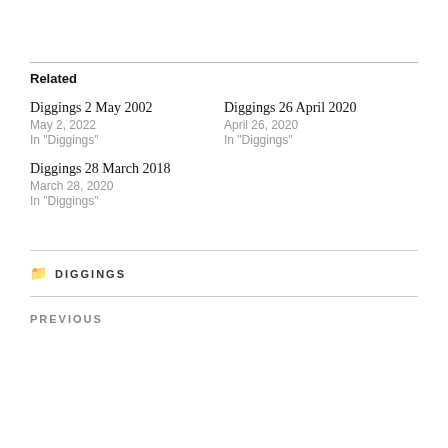Related
Diggings 2 May 2002
May 2, 2022
In "Diggings"
Diggings 26 April 2020
April 26, 2020
In "Diggings"
Diggings 28 March 2018
March 28, 2020
In "Diggings"
DIGGINGS
PREVIOUS